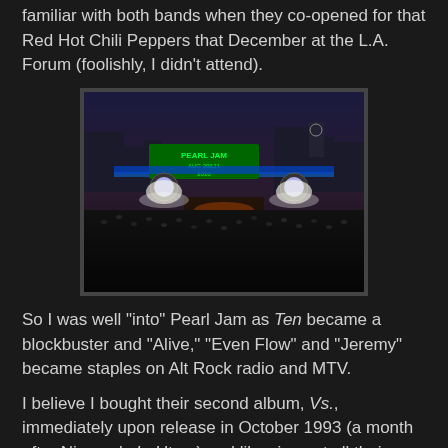familiar with both bands when they co-opened for that Red Hot Chili Peppers that December at the L.A. Forum (foolishly, I didn't attend).
[Figure (photo): Concert photo of Pearl Jam performing on stage at night with a large crowd, green LED sign reading 'PEARL JAM AUG 20&21 2016', blue stage lighting, and city skyline in background.]
So I was well "into" Pearl Jam as Ten became a blockbuster and "Alive," "Even Flow" and "Jeremy" became staples on Alt Rock radio and MTV.
I believe I bought their second album, Vs., immediately upon release in October 1993 (a month after Nirvana's In Utero) and likewise got all their subsequent albums rather instantly